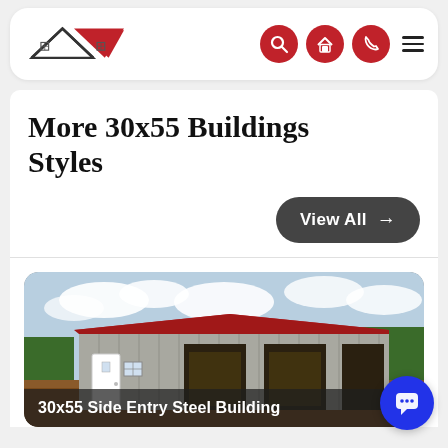[Figure (logo): Steel building company logo with house/roof shape in red and black with grid window icon, and navigation icons (search, home, phone) as red circles plus hamburger menu]
More 30x55 Buildings Styles
View All →
[Figure (photo): Photo of a 30x55 side entry steel building with gray metal siding, red roof, a white door on the left side, three open garage bay entrances, set in a rural landscape with green trees and cloudy sky]
30x55 Side Entry Steel Building